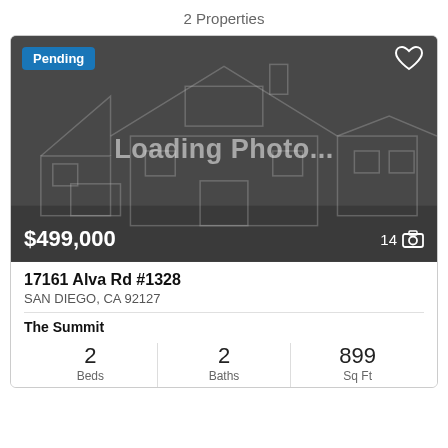2 Properties
[Figure (photo): Property listing card with loading photo placeholder showing a house outline. Status badge: Pending. Price: $499,000. Photo count: 14.]
17161 Alva Rd #1328
SAN DIEGO, CA 92127
The Summit
2 Beds  2 Baths  899 Sq Ft